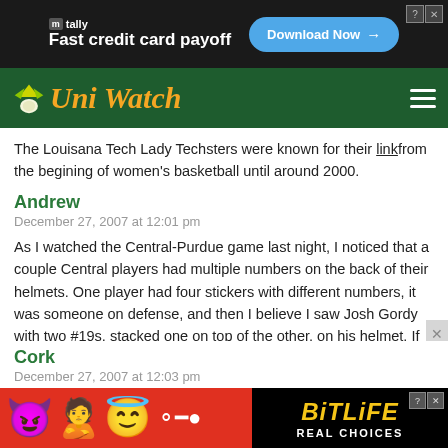[Figure (screenshot): Tally app advertisement banner: dark background, Tally logo and tagline 'Fast credit card payoff', blue 'Download Now' button with arrow]
[Figure (logo): Uni Watch navigation bar with yellow cursive logo on dark green background and hamburger menu icon]
The Louisana Tech Lady Techsters were known for their linkfrom the begining of women's basketball until around 2000.
Andrew
December 27, 2007 at 12:01 pm
As I watched the Central-Purdue game last night, I noticed that a couple Central players had multiple numbers on the back of their helmets. One player had four stickers with different numbers, it was someone on defense, and then I believe I saw Josh Gordy with two #19s, stacked one on top of the other, on his helmet. If anyone could find a picture of the Central defensive player with four number stickers on him, its a pretty interesting look...
Cork
December 27, 2007 at 12:03 pm
[Figure (screenshot): BitLife game advertisement banner: red background with emoji characters (devil, woman, angel), black panel with yellow 'BitLife' logo and 'REAL CHOICES' text]